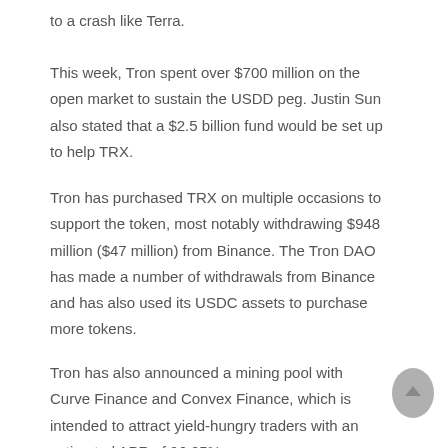to a crash like Terra.
This week, Tron spent over $700 million on the open market to sustain the USDD peg. Justin Sun also stated that a $2.5 billion fund would be set up to help TRX.
Tron has purchased TRX on multiple occasions to support the token, most notably withdrawing $948 million ($47 million) from Binance. The Tron DAO has made a number of withdrawals from Binance and has also used its USDC assets to purchase more tokens.
Tron has also announced a mining pool with Curve Finance and Convex Finance, which is intended to attract yield-hungry traders with an estimated APR of 96.25%.